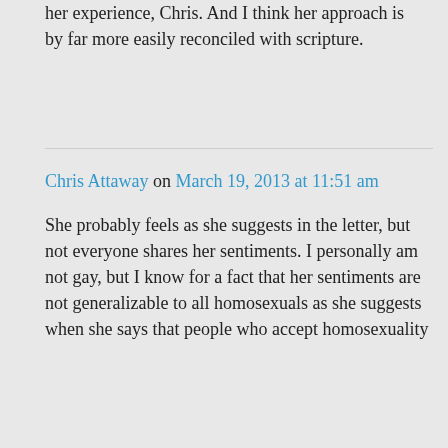support the authentic statement of her experience, Chris. And I think her approach is by far more easily reconciled with scripture.
Chris Attaway on March 19, 2013 at 11:51 am
She probably feels as she suggests in the letter, but not everyone shares her sentiments. I personally am not gay, but I know for a fact that her sentiments are not generalizable to all homosexuals as she suggests when she says that people who accept homosexuality